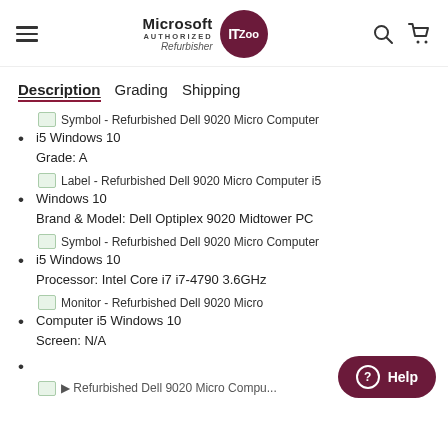Microsoft Authorized Refurbisher IT Zoo — navigation header with hamburger menu, logo, search and cart icons
Description  Grading  Shipping
[Figure (screenshot): Small broken image placeholder icon for: Symbol - Refurbished Dell 9020 Micro Computer i5 Windows 10]
i5 Windows 10
Grade: A
[Figure (screenshot): Small broken image placeholder icon for: Label - Refurbished Dell 9020 Micro Computer i5]
Windows 10
Brand & Model: Dell Optiplex 9020 Midtower PC
[Figure (screenshot): Small broken image placeholder icon for: Symbol - Refurbished Dell 9020 Micro Computer i5 Windows 10]
i5 Windows 10
Processor: Intel Core i7 i7-4790 3.6GHz
[Figure (screenshot): Small broken image placeholder icon for: Monitor - Refurbished Dell 9020 Micro Computer i5 Windows 10]
Computer i5 Windows 10
Screen: N/A
[Figure (screenshot): Partial broken image placeholder icon at bottom of page]